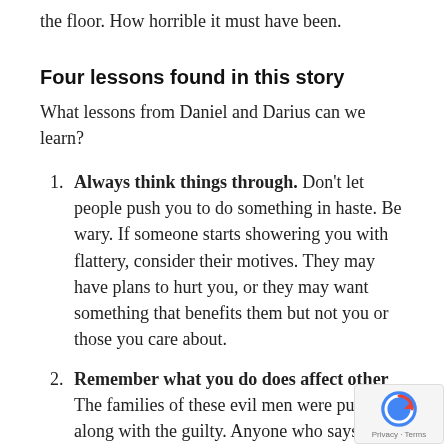overpowered them before they even reached the floor. How horrible it must have been.
Four lessons found in this story
What lessons from Daniel and Darius can we learn?
Always think things through. Don't let people push you to do something in haste. Be wary. If someone starts showering you with flattery, consider their motives. They may have plans to hurt you, or they may want something that benefits them but not you or those you care about.
Remember what you do does affect other. The families of these evil men were punished along with the guilty. Anyone who says what